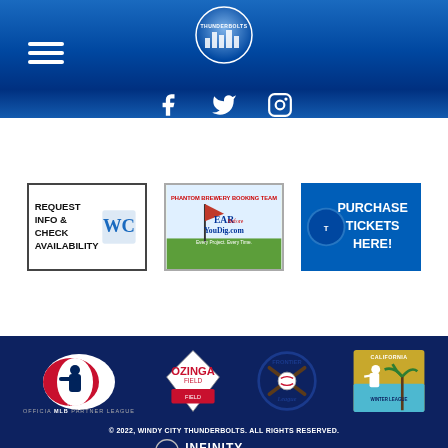[Figure (screenshot): Navigation header with blue gradient background, hamburger menu, Windy City Thunderbolts logo circle, and social media icons for Facebook, Twitter, Instagram]
[Figure (logo): Request Info & Check Availability banner advertisement]
[Figure (logo): EarBeforeYouDig.com advertisement banner with golf flag imagery]
[Figure (logo): Purchase Tickets Here! blue banner with Thunderbolts logo]
[Figure (logo): MLB Official Partner League logo]
[Figure (logo): Ozinga Field logo in red and white diamond shape]
[Figure (logo): Frontier League logo with crossed bats and baseball]
[Figure (logo): California Winter League logo with palm tree and batter silhouette]
© 2022, WINDY CITY THUNDERBOLTS. ALL RIGHTS RESERVED.
[Figure (logo): Infinity Sports & Entertainment logo]